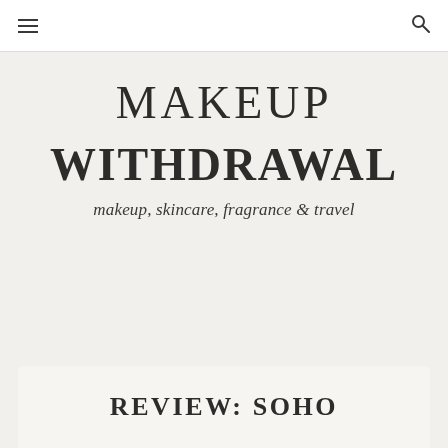≡   🔍
MAKEUP
WITHDRAWAL
makeup, skincare, fragrance & travel
REVIEW: SOHO